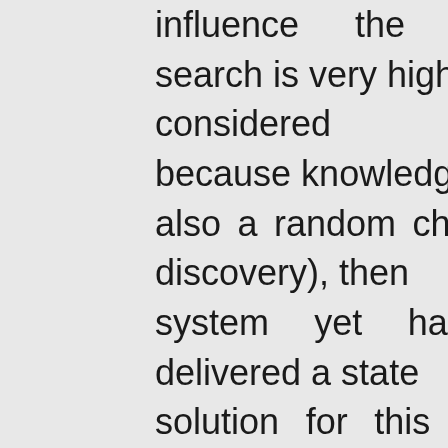influence the vertical search is very high, considered infinite, because knowledge also a random chance of discovery), then system yet has fully delivered a state solution for this search. The sense beh vertical search is that visitors search fo and not for terms. By following this h have enhanced our digital library with Information retrieval (IR) module.
The IR is the nucleus of our digital s Usually, the visitors of a digital library a rewarded by the riches of the options in or in an opposite scenario they are lim what these IR module confines them to d